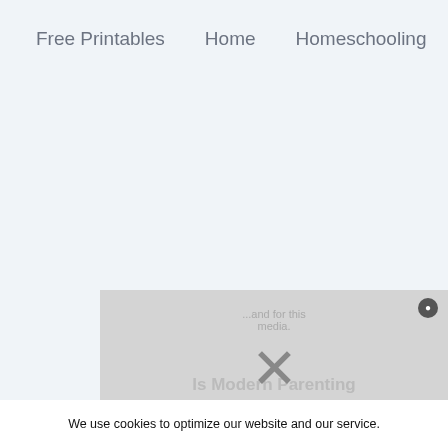Free Printables   Home   Homeschooling
[Figure (screenshot): Video placeholder overlay showing 'Is Modern Parenting Better Than Traditional?' with a close button and X marks indicating media not loaded]
We use cookies to optimize our website and our service.